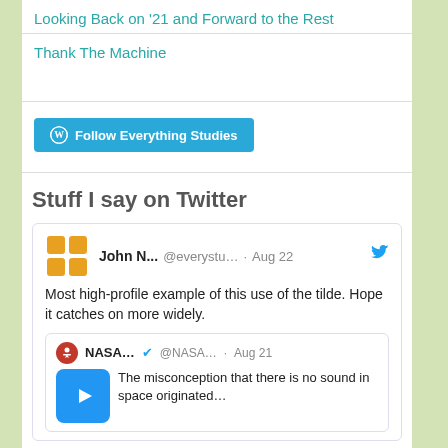Looking Back on '21 and Forward to the Rest
Thank The Machine
[Figure (other): Follow Everything Studies button with WordPress icon]
Stuff I say on Twitter
[Figure (screenshot): Embedded tweet from John N... @everystu... Aug 22: Most high-profile example of this use of the tilde. Hope it catches on more widely. Retweeted NASA... @NASA... Aug 21: The misconception that there is no sound in space originated...]